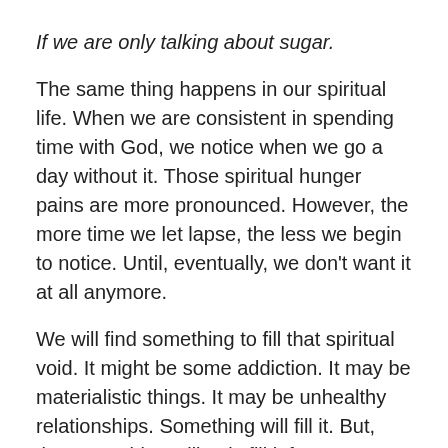If we are only talking about sugar.
The same thing happens in our spiritual life.  When we are consistent in spending time with God, we notice when we go a day without it.  Those spiritual hunger pains are more pronounced.  However, the more time we let lapse, the less we begin to notice.  Until, eventually, we don't want it at all anymore.
We will find something to fill that spiritual void.  It might be some addiction.  It may be materialistic things.  It may be unhealthy relationships.  Something will fill it.  But, that something will only fill it for a moment.  It will never completely satisfy us.
King David continually sought time with God.  This is why he could write in Psalm 63 “Oh God, you are my God; I